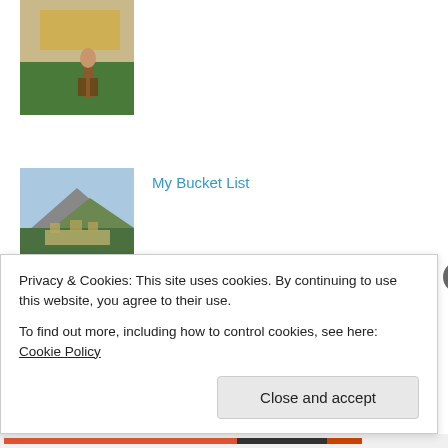[Figure (photo): Thumbnail photo of a person at what appears to be a stadium or sports venue, partially visible at top]
[Figure (photo): Thumbnail photo of a mountain landscape, possibly Machu Picchu]
My Bucket List
[Figure (photo): Thumbnail photo of Cango Caves interior with stalactites]
Cango Caves
[Figure (photo): Thumbnail photo of Paris, partially visible]
Bonjour Paris
Privacy & Cookies: This site uses cookies. By continuing to use this website, you agree to their use.
To find out more, including how to control cookies, see here: Cookie Policy
Close and accept